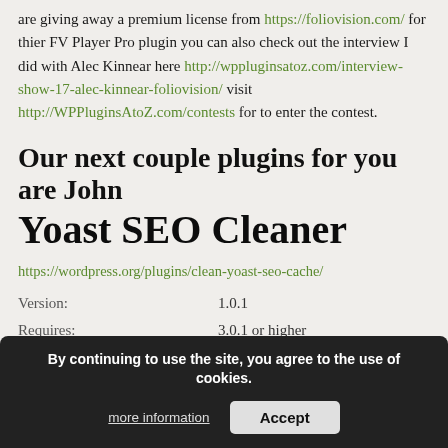are giving away a premium license from https://foliovision.com/ for thier FV Player Pro plugin you can also check out the interview I did with Alec Kinnear here http://wppluginsatoz.com/interview-show-17-alec-kinnear-foliovision/ visit http://WPPluginsAtoZ.com/contests for to enter the contest.
Our next couple plugins for you are John
Yoast SEO Cleaner
https://wordpress.org/plugins/clean-yoast-seo-cache/
| Version: | 1.0.1 |
| Requires: | 3.0.1 or higher |
| Compatible up to: |  |
| Released: | March 2016 |
| Downloads: | 962 |
By continuing to use the site, you agree to the use of cookies.
more information  Accept